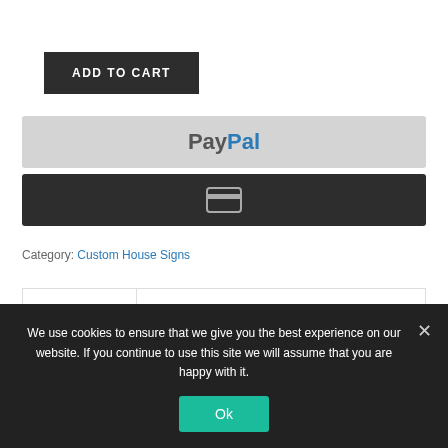ADD TO CART
[Figure (other): PayPal payment button (grey background with PayPal logo text)]
[Figure (other): Credit card payment button (dark background with card icon)]
Category: Custom House Signs
Description | Additional information (tab navigation)
We use cookies to ensure that we give you the best experience on our website. If you continue to use this site we will assume that you are happy with it.
Ok